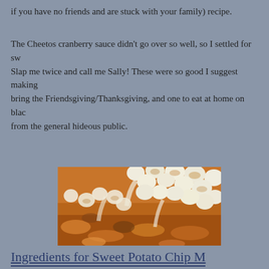if you have no friends and are stuck with your family) recipe.
The Cheetos cranberry sauce didn't go over so well, so I settled for sw Slap me twice and call me Sally! These were so good I suggest making bring the Friendsgiving/Thanksgiving, and one to eat at home on blac from the general hideous public.
[Figure (photo): Close-up photo of a sweet potato chip casserole dish topped with toasted mini marshmallows, showing the marshmallows browned and melted over sweet potato chips.]
Ingredients for Sweet Potato Chip M